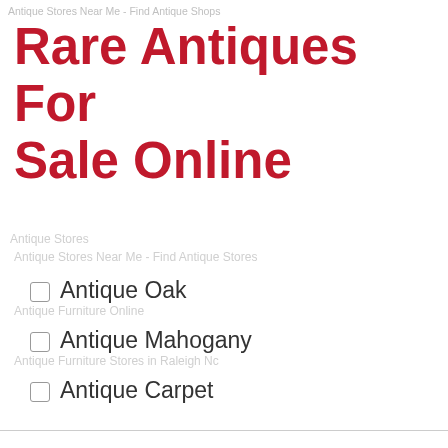Antique Stores Near Me - Find Antique Shops
Rare Antiques For Sale Online
Antique Oak
Antique Mahogany
Antique Carpet
Antique Painting
Antique Glass
Antique Plate
Niagara Falls Glass
Antique Dressers Columbus Ohio
Garage Shops...